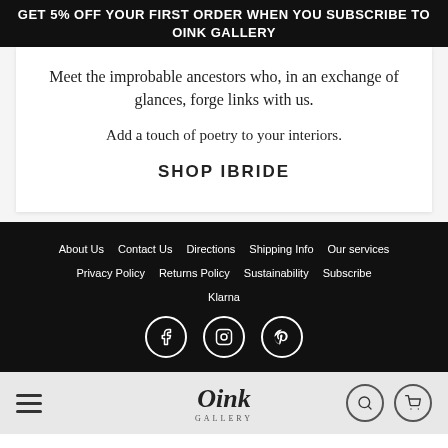GET 5% OFF YOUR FIRST ORDER WHEN YOU SUBSCRIBE TO OINK GALLERY
Meet the improbable ancestors who, in an exchange of glances, forge links with us.
Add a touch of poetry to your interiors.
SHOP IBRIDE
About Us  Contact Us  Directions  Shipping Info  Our services  Privacy Policy  Returns Policy  Sustainability  Subscribe  Klarna